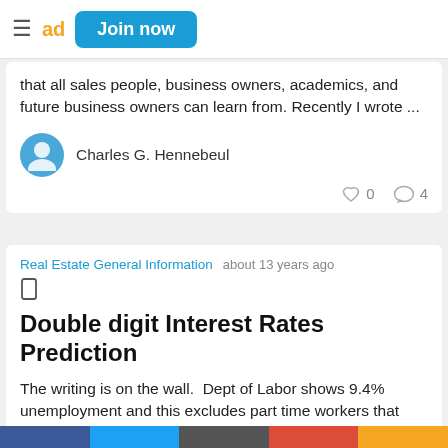≡ ad Join now
that all sales people, business owners, academics, and future business owners can learn from. Recently I wrote ...
Charles G. Hennebeul
0  4
Real Estate General Information   about 13 years ago
Double digit Interest Rates Prediction
The writing is on the wall.  Dept of Labor shows 9.4% unemployment and this excludes part time workers that really need full time jobs.  This excludes workers w ...
Charles G. Hennebeul